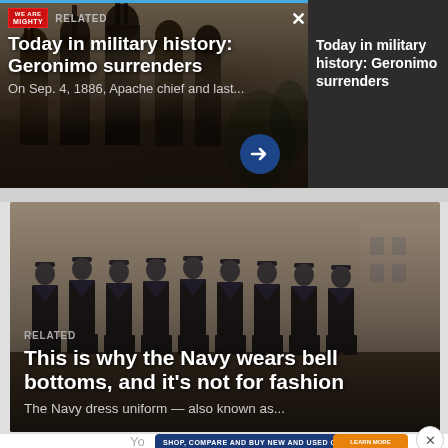[Figure (photo): Black and white historical photo of Native American figures (Apache) with overlay card showing 'RELATED' label and article title]
RELATED
Today in military history: Geronimo surrenders
On Sep. 4, 1886, Apache chief and last...
Today in military history: Geronimo surrenders
[Figure (photo): Black and white historical photo of Navy sailors in bell-bottom uniforms standing in a row]
RELATED
This is why the Navy wears bell bottoms, and it's not for fashion
The Navy dress uniform — also known as...
[Figure (screenshot): Advertisement banner: SHOP, COMPARE AND BUY NEW AND USED CARS with LEARN MORE button and TrueCar by Navy Federal logo]